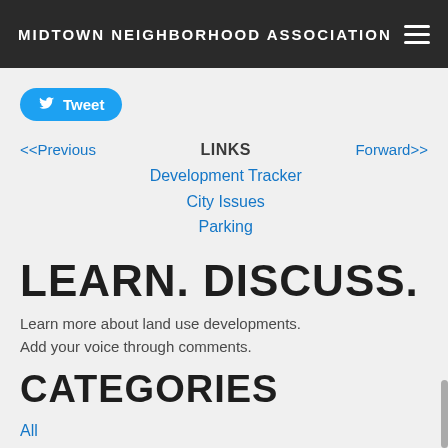MIDTOWN NEIGHBORHOOD ASSOCIATION
Tweet
<<Previous    LINKS    Forward>>
Development Tracker
City Issues
Parking
LEARN. DISCUSS.
Learn more about land use developments.
Add your voice through comments.
CATEGORIES
All
15/16 St Corridor